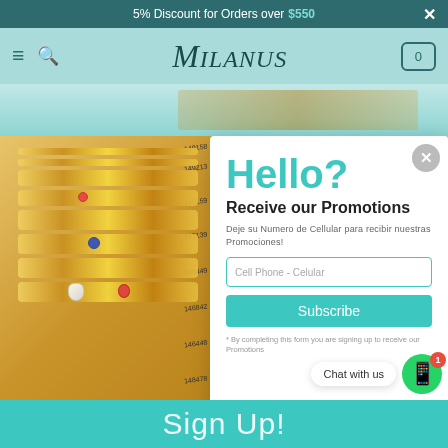5% Discount for Orders over $550
[Figure (screenshot): Milanus jewelry store navigation bar with hamburger menu, search icon, Milanus logo, and cart button showing 0]
[Figure (photo): Gold chain jewelry with charm pendants including moon, butterfly, evil eye, and heart charms on beige background with product number labels]
Hello?
Receive our Promotions
Deje su Numero de Cellular para recibir nuestras Promociones!
Cell Phone - Celular
Subscribe
* By completing this form you are signing up to receive our Promotions
Quick View
Quick View
Sign Up!
Chat with us